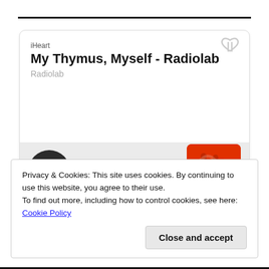[Figure (screenshot): iHeart podcast player card showing 'My Thymus, Myself - Radiolab' with play button and Radiolab podcast thumbnail]
Privacy & Cookies: This site uses cookies. By continuing to use this website, you agree to their use.
To find out more, including how to control cookies, see here: Cookie Policy
Close and accept